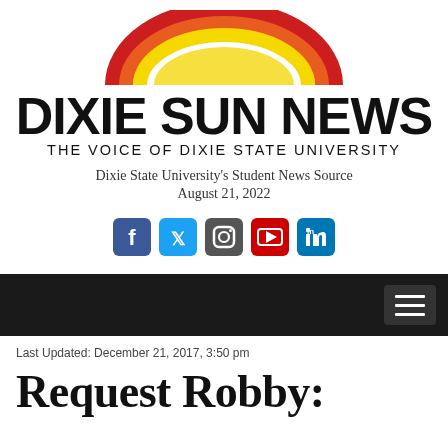[Figure (logo): Dixie Sun News logo with rainbow arc above bold text]
Dixie State University's Student News Source
August 21, 2022
[Figure (infographic): Social media icons: Facebook, Twitter, Instagram, YouTube, LinkedIn]
Last Updated: December 21, 2017, 3:50 pm
Request Robby: